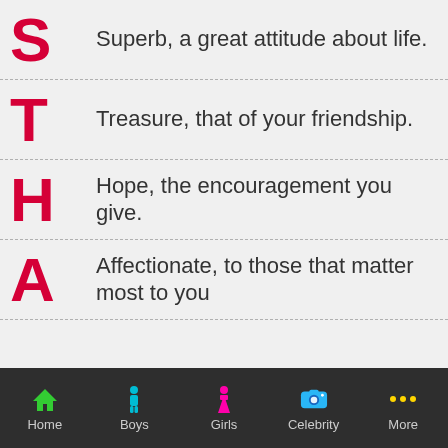S — Superb, a great attitude about life.
T — Treasure, that of your friendship.
H — Hope, the encouragement you give.
A — Affectionate, to those that matter most to you
Home | Boys | Girls | Celebrity | More